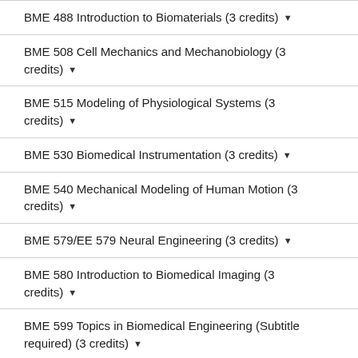BME 488 Introduction to Biomaterials (3 credits) ▾
BME 508 Cell Mechanics and Mechanobiology (3 credits) ▾
BME 515 Modeling of Physiological Systems (3 credits) ▾
BME 530 Biomedical Instrumentation (3 credits) ▾
BME 540 Mechanical Modeling of Human Motion (3 credits) ▾
BME 579/EE 579 Neural Engineering (3 credits) ▾
BME 580 Introduction to Biomedical Imaging (3 credits) ▾
BME 599 Topics in Biomedical Engineering (Subtitle required) (3 credits) ▾